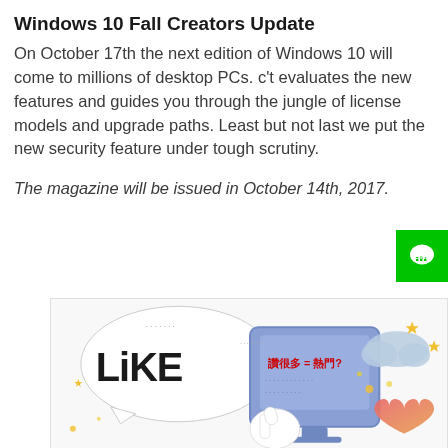Windows 10 Fall Creators Update
On October 17th the next edition of Windows 10 will come to millions of desktop PCs. c't evaluates the new features and guides you through the jungle of license models and upgrade paths. Least but not last we put the new security feature under tough scrutiny.
The magazine will be issued in October 14th, 2017.
[Figure (illustration): Cartoon illustration showing a 'LIKE' speech bubble with a thumbs up icon, a purple/blue computer monitor with Chinese text '讚很多 = 熱門?' (Many likes = Popular?), stars, sparkles, a cloud, and a heart emoji — social media themed illustration.]